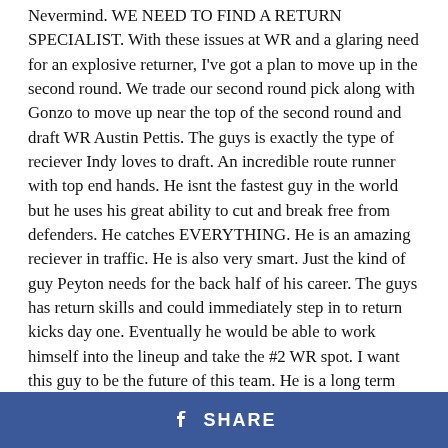Nevermind. WE NEED TO FIND A RETURN SPECIALIST. With these issues at WR and a glaring need for an explosive returner, I've got a plan to move up in the second round. We trade our second round pick along with Gonzo to move up near the top of the second round and draft WR Austin Pettis. The guys is exactly the type of reciever Indy loves to draft. An incredible route runner with top end hands. He isnt the fastest guy in the world but he uses his great ability to cut and break free from defenders. He catches EVERYTHING. He is an amazing reciever in traffic. He is also very smart. Just the kind of guy Peyton needs for the back half of his career. The guys has return skills and could immediately step in to return kicks day one. Eventually he would be able to work himself into the lineup and take the #2 WR spot. I want this guy to be the future of this team. He is a long term answer at the WR position for this team. Unless of course Bill Polian gets some of the stuff im on and gets the wild idea to give Arizona
[Figure (other): Facebook Share button bar — blue background with Facebook icon and SHARE text in white]